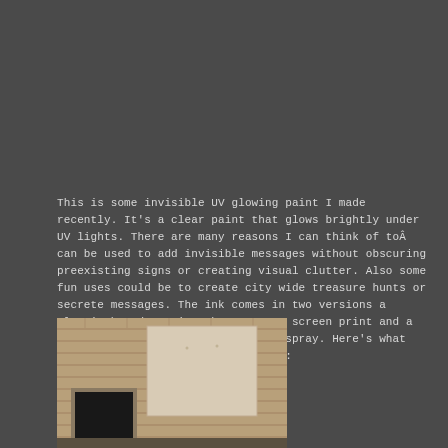This is some invisible UV glowing paint I made recently. It's a clear paint that glows brightly under UV lights. There are many reasons I can think of toÂ can be used to add invisible messages without obscuring preexisting signs or creating visual clutter. Also some fun uses could be to create city wide treasure hunts or secrete messages. The ink comes in two versions a plastic based version that you can screen print and a polyurethane version that you can spray. Here's what the wall looks like during the day:
[Figure (photo): A brick wall building photographed during the day, showing the exterior with a door opening visible at the bottom left and a lighter panel section on the wall.]